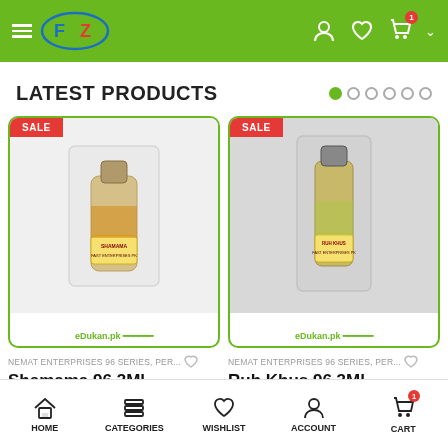eDukan.pk mobile app header with logo and cart icon showing 1 item
LATEST PRODUCTS
[Figure (photo): Product photo of Shamama 96.3Ml perfume oil by Nemat Enterprises in clear plastic blister pack, small amber bottle with yellow label, SALE badge, eDukan.pk watermark]
[Figure (photo): Product photo of Ruh Khus 96.3Ml perfume oil by Nemat Enterprises in clear plastic blister pack, taller bottle with yellow label, SALE badge, eDukan.pk watermark]
NEMAT ENTERPRISES 96 SERIES, PER...
Shamama 96.3Ml
NEMAT ENTERPRISES 96 SERIES, PER...
Ruh Khus 96.3Ml
HOME  CATEGORIES  WISHLIST  ACCOUNT  CART